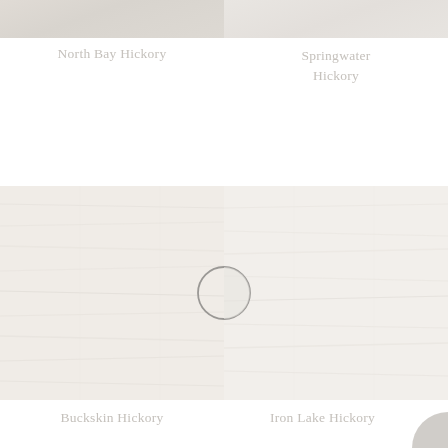[Figure (photo): Top portion of two flooring sample swatches side by side — North Bay Hickory (left) and Springwater Hickory (right), showing light beige/gray wood grain textures]
North Bay Hickory
Springwater Hickory
[Figure (photo): Two flooring sample swatches side by side — Buckskin Hickory (left) and Iron Lake Hickory (right), showing very light whitewashed wood grain textures with a circular comparison overlay at the center dividing line]
Buckskin Hickory
Iron Lake Hickory